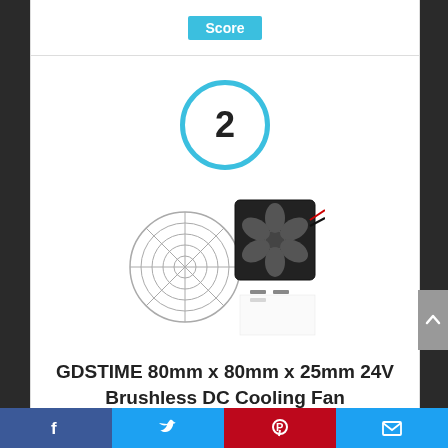Score
[Figure (illustration): Rank number 2 inside a blue circle]
[Figure (photo): GDSTIME 80mm x 80mm x 25mm 24V Brushless DC Cooling Fan product image with fan guard and mounting hardware]
GDSTIME 80mm x 80mm x 25mm 24V Brushless DC Cooling Fan
Facebook | Twitter | Pinterest | Email social share bar